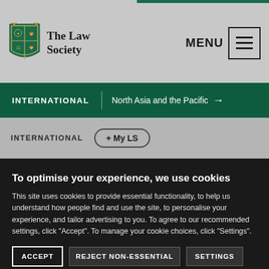[Figure (logo): The Law Society logo with shield/crest and organization name]
MENU
INTERNATIONAL | North Asia and the Pacific →
INTERNATIONAL + My LS
To optimise your experience, we use cookies
This site uses cookies to provide essential functionality, to help us understand how people find and use the site, to personalise your experience, and tailor advertising to you. To agree to our recommended settings, click "Accept". To manage your cookie choices, click "Settings".
ACCEPT | REJECT NON-ESSENTIAL | SETTINGS